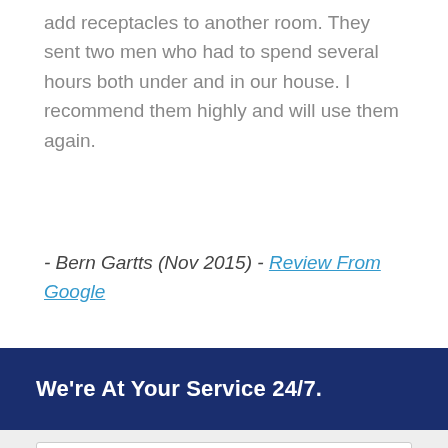add receptacles to another room. They sent two men who had to spend several hours both under and in our house. I recommend them highly and will use them again.
- Bern Gartts (Nov 2015) - Review From Google
We're At Your Service 24/7.
Name
Phone